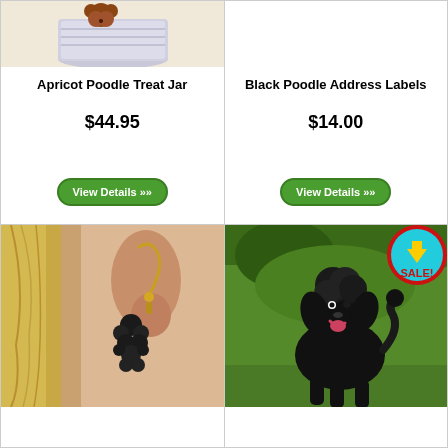[Figure (photo): Apricot poodle treat jar - brown fluffy poodle figure sitting inside a white/grey cylindrical jar]
Apricot Poodle Treat Jar
$44.95
View Details >>
[Figure (photo): Black Poodle Address Labels product - white background, no image shown]
Black Poodle Address Labels
$14.00
View Details >>
[Figure (photo): Close-up of a woman's ear wearing a black poodle dangle earring on a gold hook]
[Figure (photo): Black standard poodle dog outdoors against green foliage background, with SALE! badge overlay]
[Figure (infographic): SALE! badge - circular badge with yellow arrow pointing down, cyan/blue background, red border, text SALE!]